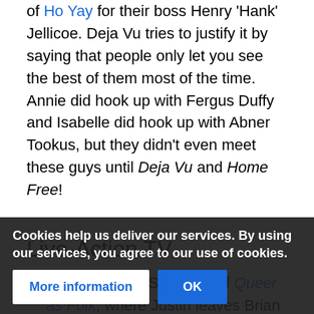of Ho Yay for their boss Henry 'Hank' Jellicoe. Deja Vu tries to justify it by saying that people only let you see the best of them most of the time. Annie did hook up with Fergus Duffy and Isabelle did hook up with Abner Tookus, but they didn't even meet these guys until Deja Vu and Home Free!
Live-Action TV
One is in the US version of Queer as Folk, where Justin leaves Brian for a much more romantic guy, who suddenly has an affair.
Sex and the City's Alexandr is one of the best examples of this trope, going from an amazing, sweet, and sensitive guy to a jerk who ignores Carrie and proves to be completely self-absorbed...before leaving for Paris.